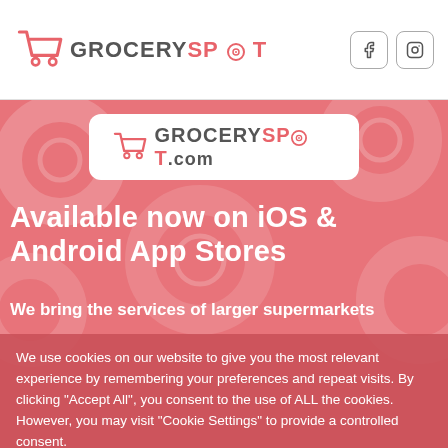GROCERYSPOT — logo with Facebook and Instagram social icons
[Figure (logo): GrocerySpot.com logo in white rounded rectangle on pink background]
Available now on iOS & Android App Stores
We bring the services of larger supermarkets
We use cookies on our website to give you the most relevant experience by remembering your preferences and repeat visits. By clicking "Accept All", you consent to the use of ALL the cookies. However, you may visit "Cookie Settings" to provide a controlled consent.
Cookie Settings | Accept All